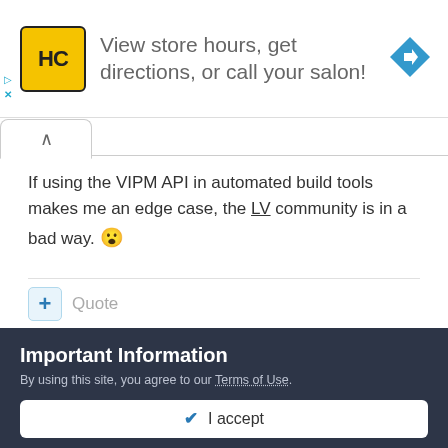[Figure (infographic): Advertisement banner: HC logo (yellow square with black HC text), text 'View store hours, get directions, or call your salon!', blue diamond navigation icon on the right. Small play and X controls on the left edge.]
If using the VIPM API in automated build tools makes me an edge case, the LV community is in a bad way. 😮
+ Quote
ShaunR
Important Information
By using this site, you agree to our Terms of Use.
✔ I accept